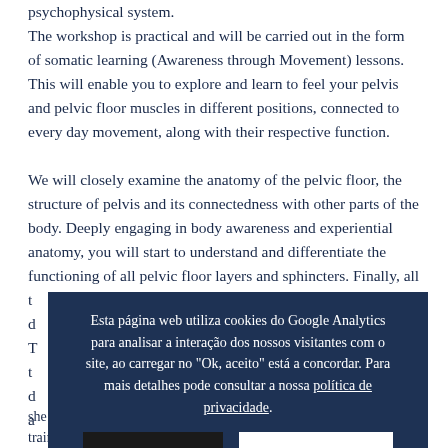psychophysical system. The workshop is practical and will be carried out in the form of somatic learning (Awareness through Movement) lessons. This will enable you to explore and learn to feel your pelvis and pelvic floor muscles in different positions, connected to every day movement, along with their respective function.
We will closely examine the anatomy of the pelvic floor, the structure of pelvis and its connectedness with other parts of the body. Deeply engaging in body awareness and experiential anatomy, you will start to understand and differentiate the functioning of all pelvic floor layers and sphincters. Finally, all t d T t d a
Esta página web utiliza cookies do Google Analytics para analisar a interação dos nossos visitantes com o site, ao carregar no "Ok, aceito" está a concordar. Para mais detalhes pode consultar a nossa política de privacidade.
she is also the educational director of professional Feldenkrais training programme in Italy and Spain.